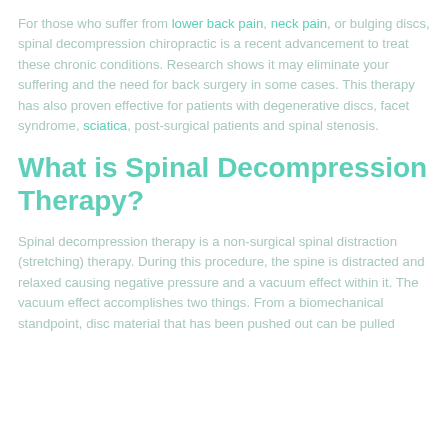For those who suffer from lower back pain, neck pain, or bulging discs, spinal decompression chiropractic is a recent advancement to treat these chronic conditions. Research shows it may eliminate your suffering and the need for back surgery in some cases. This therapy has also proven effective for patients with degenerative discs, facet syndrome, sciatica, post-surgical patients and spinal stenosis.
What is Spinal Decompression Therapy?
Spinal decompression therapy is a non-surgical spinal distraction (stretching) therapy. During this procedure, the spine is distracted and relaxed causing negative pressure and a vacuum effect within it. The vacuum effect accomplishes two things. From a biomechanical standpoint, disc material that has been pushed out can be pulled...